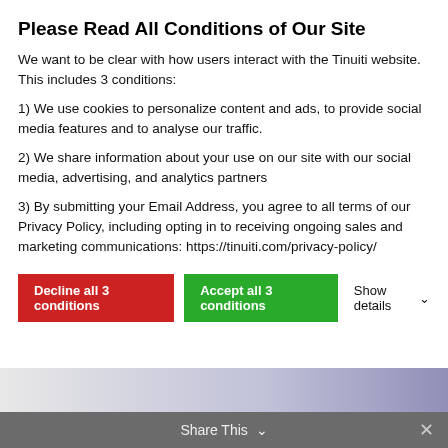Please Read All Conditions of Our Site
We want to be clear with how users interact with the Tinuiti website. This includes 3 conditions:
1) We use cookies to personalize content and ads, to provide social media features and to analyse our traffic.
2) We share information about your use on our site with our social media, advertising, and analytics partners
3) By submitting your Email Address, you agree to all terms of our Privacy Policy, including opting in to receiving ongoing sales and marketing communications: https://tinuiti.com/privacy-policy/
Decline all 3 conditions | Accept all 3 conditions | Show details
Prepare for the Irish Data Protection Commission Update [From the Experts]
Jul 26, 2022